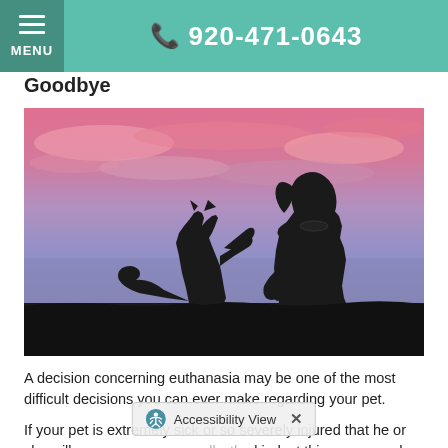☰ MENU   📞 920-471-0643
Goodbye
[Figure (photo): Silhouette of a cat rearing up on its hind legs facing a sitting dog, against a dramatic pink and purple sunset sky.]
A decision concerning euthanasia may be one of the most difficult decisions you can ever make regarding your pet.
If your pet is extremely sick or so severely injured that he or she will never recover normally, the kindest thing you can do for your pet is...